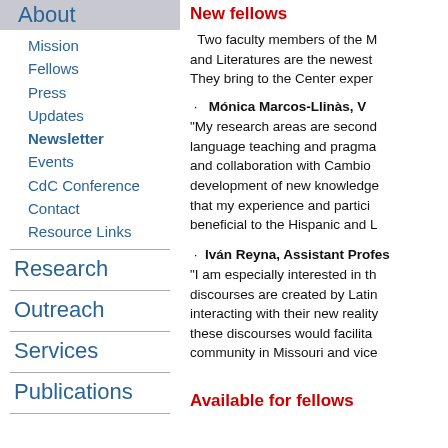About
Mission
Fellows
Press
Updates
Newsletter
Events
CdC Conference
Contact
Resource Links
Research
Outreach
Services
Publications
New fellows
Two faculty members of the M and Literatures are the newest They bring to the Center exper
Mónica Marcos-Llinàs, V
"My research areas are second language teaching and pragma and collaboration with Cambio development of new knowledge that my experience and partici beneficial to the Hispanic and L
Iván Reyna, Assistant Profes
"I am especially interested in th discourses are created by Latin interacting with their new reality these discourses would facilita community in Missouri and vice
Available for fellows